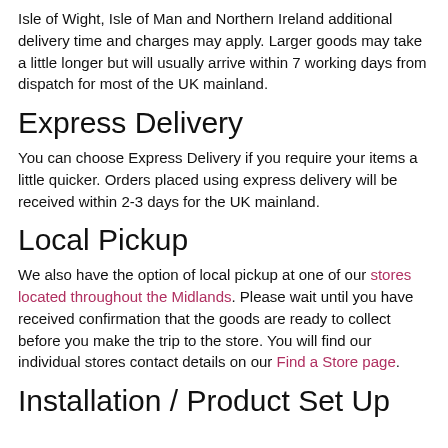Isle of Wight, Isle of Man and Northern Ireland additional delivery time and charges may apply. Larger goods may take a little longer but will usually arrive within 7 working days from dispatch for most of the UK mainland.
Express Delivery
You can choose Express Delivery if you require your items a little quicker. Orders placed using express delivery will be received within 2-3 days for the UK mainland.
Local Pickup
We also have the option of local pickup at one of our stores located throughout the Midlands. Please wait until you have received confirmation that the goods are ready to collect before you make the trip to the store. You will find our individual stores contact details on our Find a Store page.
Installation / Product Set Up